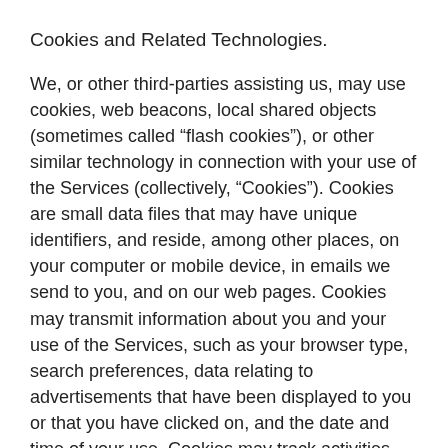Cookies and Related Technologies.
We, or other third-parties assisting us, may use cookies, web beacons, local shared objects (sometimes called “flash cookies”), or other similar technology in connection with your use of the Services (collectively, “Cookies”). Cookies are small data files that may have unique identifiers, and reside, among other places, on your computer or mobile device, in emails we send to you, and on our web pages. Cookies may transmit information about you and your use of the Services, such as your browser type, search preferences, data relating to advertisements that have been displayed to you or that you have clicked on, and the date and time of your use. Cookies may track activities over time and across websites. You can disable some (but not all) Cookies in your device or